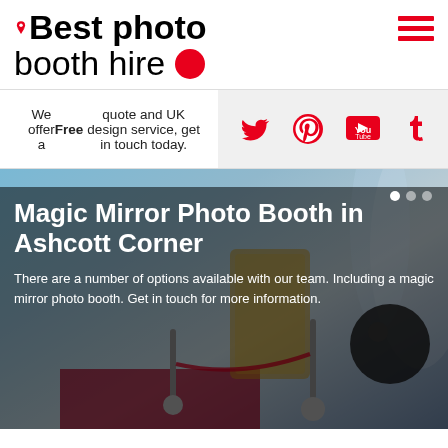[Figure (logo): Best photo booth hire logo with red location pin icon, bold black text and red circle dot]
We offer a Free quote and UK design service, get in touch today.
[Figure (infographic): Social media icons: Twitter, Pinterest, YouTube, Tumblr in red on gray background]
[Figure (photo): Photo booth setup in a venue with blue/white lighting, magic mirror booth visible, red carpet, stanchions with red ropes]
Magic Mirror Photo Booth in Ashcott Corner
There are a number of options available with our team. Including a magic mirror photo booth. Get in touch for more information.